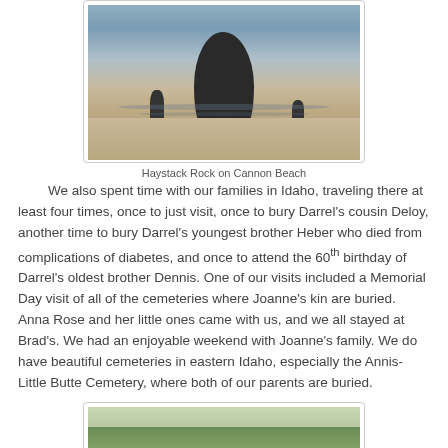[Figure (photo): Photo of Haystack Rock on Cannon Beach, a large dark rock formation rising from a flat reflective beach with a grey sky and smaller rocks nearby]
Haystack Rock on Cannon Beach
We also spent time with our families in Idaho, traveling there at least four times, once to just visit, once to bury Darrel's cousin Deloy, another time to bury Darrel's youngest brother Heber who died from complications of diabetes, and once to attend the 60th birthday of Darrel's oldest brother Dennis. One of our visits included a Memorial Day visit of all of the cemeteries where Joanne's kin are buried. Anna Rose and her little ones came with us, and we all stayed at Brad's. We had an enjoyable weekend with Joanne's family. We do have beautiful cemeteries in eastern Idaho, especially the Annis-Little Butte Cemetery, where both of our parents are buried.
[Figure (photo): Partial photo of a cemetery or outdoor scene with green trees and grass visible]